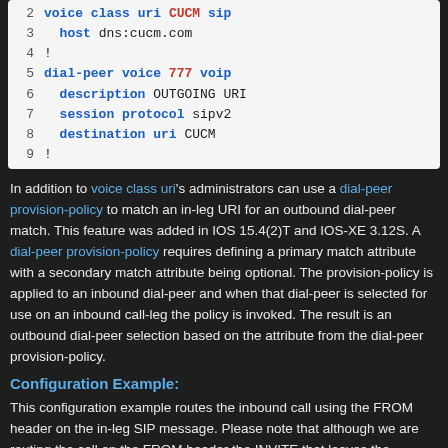[Figure (screenshot): Code block showing IOS CLI configuration lines 2-9 for voice class uri and dial-peer voice 777 voip on a white background]
In addition to voice class uri's administrators can use a dial-peer provision-policy to match an in-leg URI for an outbound dial-peer match. This feature was added in IOS 15.4(2)T and IOS-XE 3.12S. A dial-peer provision-policy requires defining a primary match attribute with a secondary match attribute being optional. The provision-policy is applied to an inbound dial-peer and when that dial-peer is selected for use on an inbound call-leg the policy is invoked. The result is an outbound dial-peer selection based on the attribute from the dial-peer provision-policy.
Configuration Example:
This configuration example routes the inbound call using the FROM header on the in-leg SIP message. Please note that although we are routing the call on the FROM header the INVITE that leaves the gateway still has the original Request URI. We only